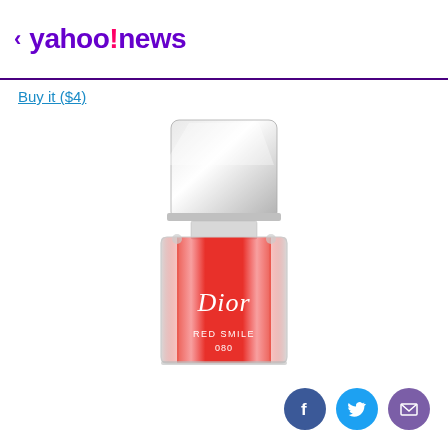< yahoo!news
Buy it ($4)
[Figure (photo): Dior Vernis nail polish bottle in red (Red Smile 080) with silver cap]
[Figure (other): Social sharing icons: Facebook, Twitter, Email]